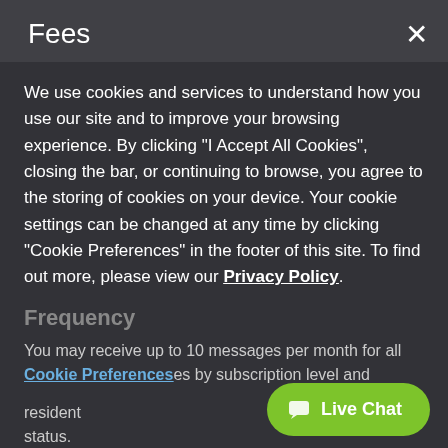Fees
We use cookies and services to understand how you use our site and to improve your browsing experience. By clicking "I Accept All Cookies", closing the bar, or continuing to browse, you agree to the storing of cookies on your device. Your cookie settings can be changed at any time by clicking "Cookie Preferences" in the footer of this site. To find out more, please view our Privacy Policy.
Frequency
You may receive up to 10 messages per month for all es by subscription level and resident status.
Cookie Preferences
I Accept All Cookies
Additional Help
Contact the property you receive these messages from directly.
Carriers
AT&T
Live Chat